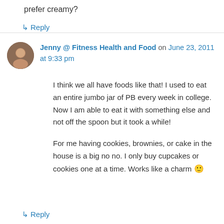prefer creamy?
↳ Reply
Jenny @ Fitness Health and Food on June 23, 2011 at 9:33 pm
I think we all have foods like that! I used to eat an entire jumbo jar of PB every week in college. Now I am able to eat it with something else and not off the spoon but it took a while!
For me having cookies, brownies, or cake in the house is a big no no. I only buy cupcakes or cookies one at a time. Works like a charm 🙂
↳ Reply